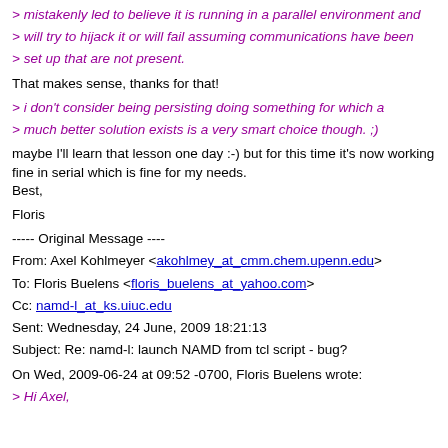> mistakenly led to believe it is running in a parallel environment and
> will try to hijack it or will fail assuming communications have been
> set up that are not present.
That makes sense, thanks for that!
> i don't consider being persisting doing something for which a
> much better solution exists is a very smart choice though. ;)
maybe I'll learn that lesson one day :-) but for this time it's now working fine in serial which is fine for my needs.
Best,
Floris
----- Original Message ----
From: Axel Kohlmeyer <akohlmey_at_cmm.chem.upenn.edu>
To: Floris Buelens <floris_buelens_at_yahoo.com>
Cc: namd-l_at_ks.uiuc.edu
Sent: Wednesday, 24 June, 2009 18:21:13
Subject: Re: namd-l: launch NAMD from tcl script - bug?
On Wed, 2009-06-24 at 09:52 -0700, Floris Buelens wrote:
> Hi Axel,